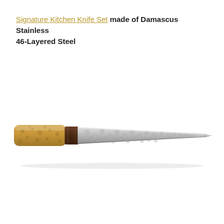Signature Kitchen Knife Set made of Damascus Stainless 46-Layered Steel
[Figure (photo): A Damascus stainless steel kitchen knife with a hammered, patterned silver blade tapering to a point, and a two-tone handle featuring a light tan/golden burl wood section and a darker walnut wood collar near the blade. The knife is oriented horizontally with the handle on the left and the blade tip pointing to the right, photographed on a white background with a subtle shadow beneath.]